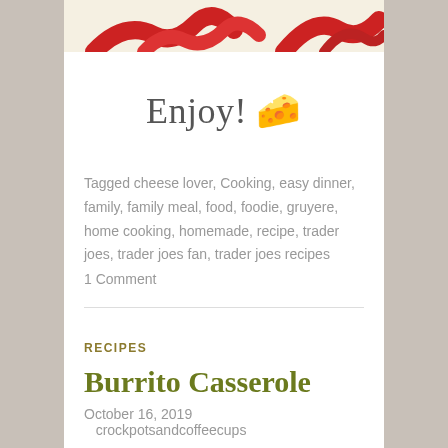[Figure (illustration): Top portion of a decorative food illustration with red swirling elements on a cream background]
Enjoy! 🧀
Tagged cheese lover, Cooking, easy dinner, family, family meal, food, foodie, gruyere, home cooking, homemade, recipe, trader joes, trader joes fan, trader joes recipes
1 Comment
RECIPES
Burrito Casserole
October 16, 2019   crockpotsandcoffeecups